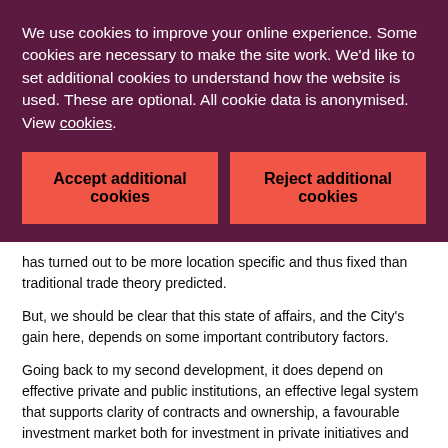We use cookies to improve your online experience. Some cookies are necessary to make the site work. We'd like to set additional cookies to understand how the website is used. These are optional. All cookie data is anonymised. View cookies.
Accept additional cookies
Reject additional cookies
has turned out to be more location specific and thus fixed than traditional trade theory predicted.
But, we should be clear that this state of affairs, and the City's gain here, depends on some important contributory factors.
Going back to my second development, it does depend on effective private and public institutions, an effective legal system that supports clarity of contracts and ownership, a favourable investment market both for investment in private initiatives and for investment in public goods (infrastructure), and yes a supportive regulatory environment.
I hope you don't mind that at this point I must name check FCA